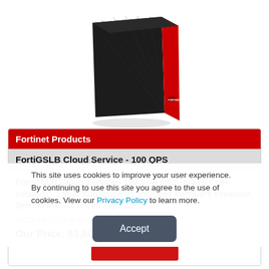[Figure (photo): Fortinet product box — black front with dark pattern, red spine, small white Fortinet logo on the spine. Box is tilted at a slight angle.]
Fortinet Products
FortiGSLB Cloud Service - 100 QPS
FortiGSLB Cloud Service - 100 DNS QPS (queries per second) - 1 Year Subscription. Includes FortiCare Premium. Select Health Checks separately
#FC2-10-CGSLB-330-02-12
Our Price: $1,800.00
This site uses cookies to improve your user experience. By continuing to use this site you agree to the use of cookies. View our Privacy Policy to learn more.
Accept